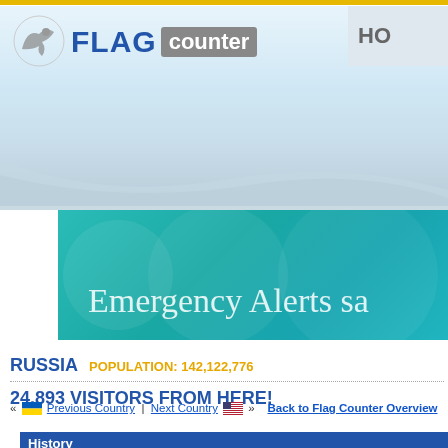[Figure (logo): Flag Counter logo with eagle icon, FLAG in blue bold, counter in grey box]
HO
[Figure (screenshot): Emergency Alerts banner advertisement in teal/cyan color]
Emergency Alerts sa
RUSSIA POPULATION: 142,122,776
24,893 VISITORS FROM HERE!
« Previous Country | Next Country » Back to Flag Counter Overview
History